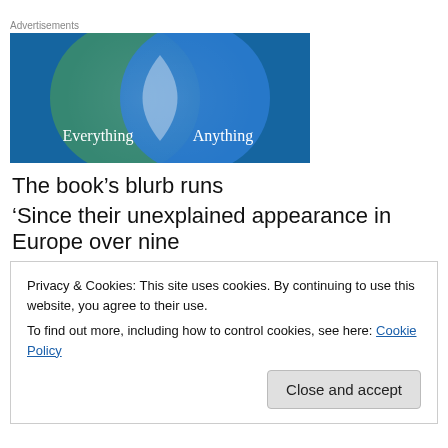Advertisements
[Figure (illustration): Venn diagram advertisement showing two overlapping circles on a blue-green background. Left circle is dark green with text 'Everything', right circle is bright blue with text 'Anything', overlapping area is light blue/white.]
The book’s blurb runs
‘Since their unexplained appearance in Europe over nine
Privacy & Cookies: This site uses cookies. By continuing to use this website, you agree to their use.
To find out more, including how to control cookies, see here: Cookie Policy
Close and accept